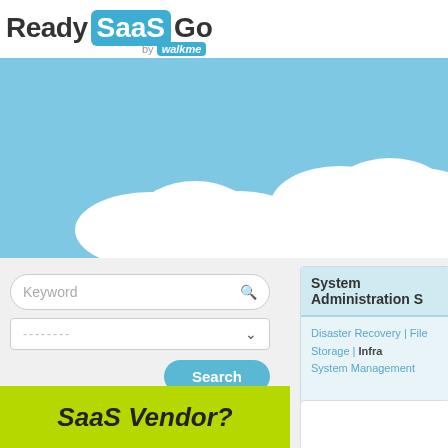[Figure (logo): ReadySaaSGo by WalkMe logo — 'Ready' in dark gray, 'SaaS' in white on blue rounded rectangle, 'Go' in dark gray, 'by walkme' in small text below with 'walkme' on blue badge]
[Figure (illustration): Light blue sky background with white clouds at the bottom — website hero banner]
Keyword
--------
Search
System Administration S
Disaster Recovery | File Storage | Infra
System Management
SaaS Vendor?